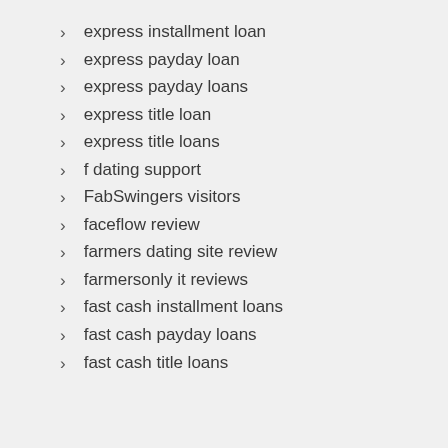express installment loan
express payday loan
express payday loans
express title loan
express title loans
f dating support
FabSwingers visitors
faceflow review
farmers dating site review
farmersonly it reviews
fast cash installment loans
fast cash payday loans
fast cash title loans